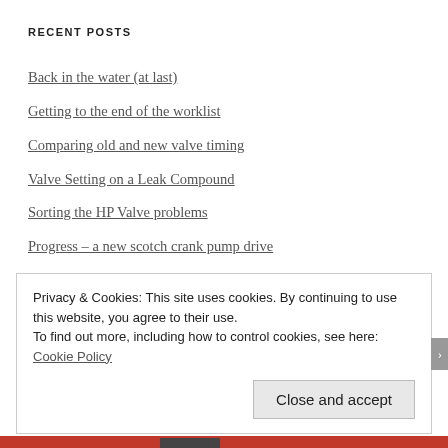RECENT POSTS
Back in the water (at last)
Getting to the end of the worklist
Comparing old and new valve timing
Valve Setting on a Leak Compound
Sorting the HP Valve problems
Progress – a new scotch crank pump drive
A Digital Engine Indicator
Engine Rebuild – Valve timing analysis
Privacy & Cookies: This site uses cookies. By continuing to use this website, you agree to their use.
To find out more, including how to control cookies, see here: Cookie Policy
Close and accept